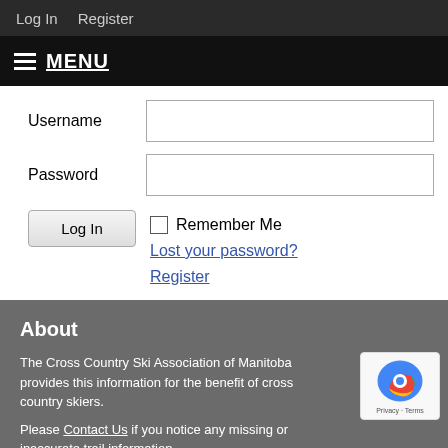Log In   Register
MENU
Username
Password
Log In
Remember Me
Lost your password?
Register
About
The Cross Country Ski Association of Manitoba provides this information for the benefit of cross country skiers.
Please Contact Us if you notice any missing or inaccurate trail information